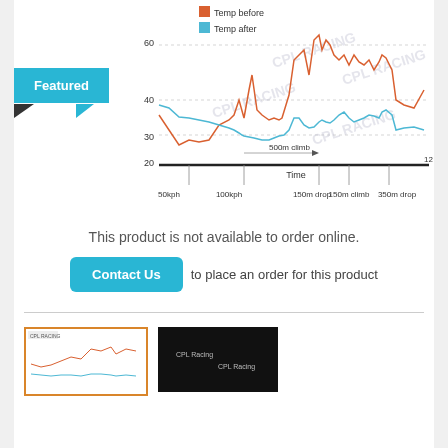[Figure (continuous-plot): Line chart showing temperature before (orange/red line) and temperature after (blue line) over time, with x-axis labels: 50kph, 100kph, 150m drop, 150m climb, 350m drop, and a 500m climb annotation. Y-axis shows values 20, 30, 40, 60. Watermark text 'CPL RACING' appears multiple times. Time axis runs to 12 min.]
Featured
This product is not available to order online.
Contact Us to place an order for this product
[Figure (screenshot): Small thumbnail image showing the same temperature chart with orange border]
[Figure (photo): Small black thumbnail image]